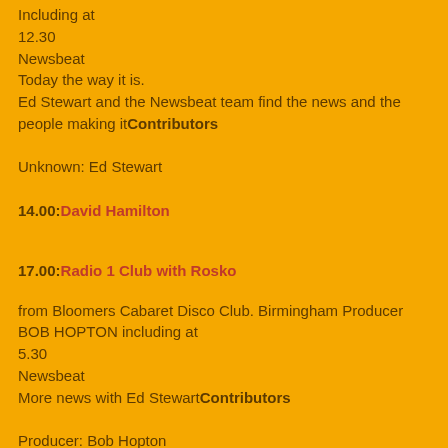Including at
12.30
Newsbeat
Today the way it is.
Ed Stewart and the Newsbeat team find the news and the people making itContributors

Unknown: Ed Stewart
14.00:David Hamilton
17.00:Radio 1 Club with Rosko
from Bloomers Cabaret Disco Club. Birmingham Producer BOB HOPTON including at
5.30
Newsbeat
More news with Ed StewartContributors

Producer: Bob Hopton
Unknown: Ed Stewart
19.00:as Radio 2
22.00:Sounds of the 70s: Bob Harris
Also on VHF with BARCLAY JAMES HARVEST ALAN HULL QUEEN